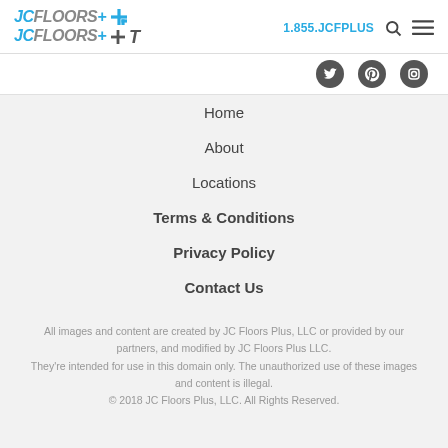JC Floors Plus logo | 1.855.JCFPLUS | Search | Menu
[Figure (logo): JC Floors Plus logo repeated twice with social media icons (Twitter, Pinterest, Instagram)]
Home
About
Locations
Terms & Conditions
Privacy Policy
Contact Us
All images and content are created by JC Floors Plus, LLC or provided by our partners, and modified by JC Floors Plus LLC. They're intended for use in this domain only. The unauthorized use of these images and content is illegal. © 2018 JC Floors Plus, LLC. All Rights Reserved.